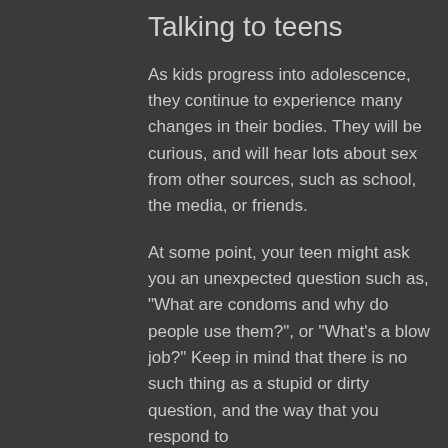Talking to teens
As kids progress into adolescence, they continue to experience many changes in their bodies. They will be curious, and will hear lots about sex from other sources, such as school, the media, or friends.
At some point, your teen might ask you an unexpected question such as, "What are condoms and why do people use them?", or "What's a blow job?" Keep in mind that there is no such thing as a stupid or dirty question, and the way that you respond to